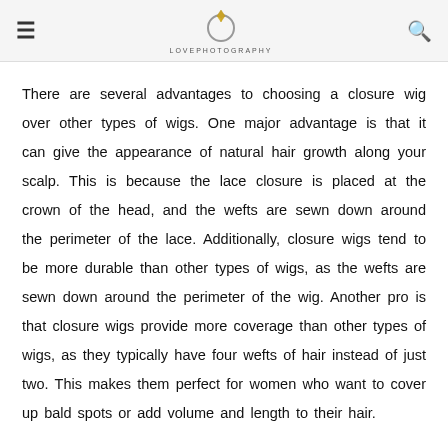LOVEPHOTOGRAPHY
There are several advantages to choosing a closure wig over other types of wigs. One major advantage is that it can give the appearance of natural hair growth along your scalp. This is because the lace closure is placed at the crown of the head, and the wefts are sewn down around the perimeter of the lace. Additionally, closure wigs tend to be more durable than other types of wigs, as the wefts are sewn down around the perimeter of the wig. Another pro is that closure wigs provide more coverage than other types of wigs, as they typically have four wefts of hair instead of just two. This makes them perfect for women who want to cover up bald spots or add volume and length to their hair.